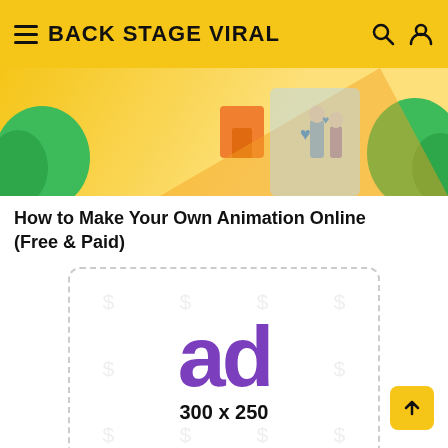BACK STAGE VIRAL
[Figure (illustration): Colorful illustration with cartoon characters, trees, and someone holding boxes]
How to Make Your Own Animation Online (Free & Paid)
[Figure (other): Advertisement placeholder 300 x 250]